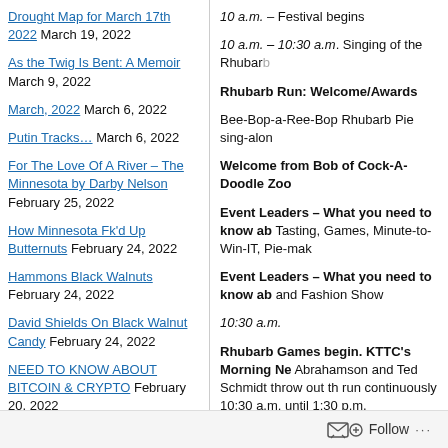Drought Map for March 17th 2022 March 19, 2022
As the Twig Is Bent: A Memoir March 9, 2022
March, 2022 March 6, 2022
Putin Tracks… March 6, 2022
For The Love Of A River – The Minnesota by Darby Nelson February 25, 2022
How Minnesota Fk'd Up Butternuts February 24, 2022
Hammons Black Walnuts February 24, 2022
David Shields On Black Walnut Candy February 24, 2022
NEED TO KNOW ABOUT BITCOIN & CRYPTO February 20, 2022
10 a.m. – Festival begins
10 a.m. – 10:30 a.m. Singing of the Rhubarb
Rhubarb Run: Welcome/Awards
Bee-Bop-a-Ree-Bop Rhubarb Pie sing-alon
Welcome from Bob of Cock-A-Doodle Zoo
Event Leaders – What you need to know ab Tasting, Games, Minute-to-Win-IT, Pie-mak
Event Leaders – What you need to know ab and Fashion Show
10:30 a.m.
Rhubarb Games begin. KTTC's Morning Ne Abrahamson and Ted Schmidt throw out th run continuously 10:30 a.m. until 1:30 p.m.
Rhubarb Jugglers Will they juggle flaming r
Rhubarb Tasting begins.Taste everything rh sweets to drinks. Tasting continues until go
Minute-to-Win-it Rhubarb Chopstick Con
Follow ...